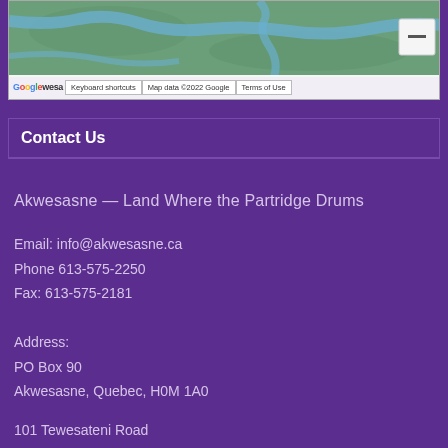[Figure (map): Google Maps screenshot showing Akwesasne area with green terrain, blue water features, and a zoom-out button. Map bar shows Google logo, Keyboard shortcuts, Map data ©2022 Google, Terms of Use.]
Contact Us
Akwesasne — Land Where the Partridge Drums
Email: info@akwesasne.ca
Phone 613-575-2250
Fax: 613-575-2181
Address:
PO Box 90
Akwesasne, Quebec, H0M 1A0
101 Tewesateni Road